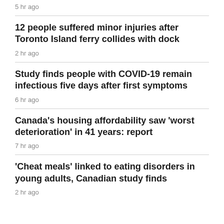5 hr ago
12 people suffered minor injuries after Toronto Island ferry collides with dock
2 hr ago
Study finds people with COVID-19 remain infectious five days after first symptoms
6 hr ago
Canada's housing affordability saw 'worst deterioration' in 41 years: report
7 hr ago
'Cheat meals' linked to eating disorders in young adults, Canadian study finds
2 hr ago